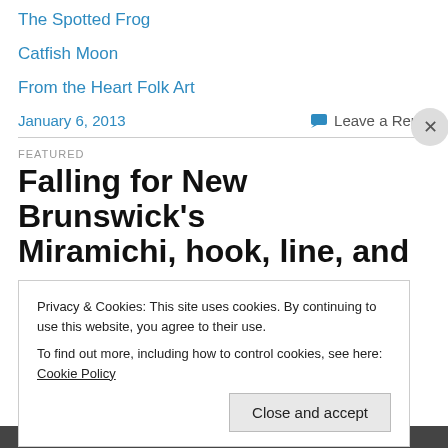The Spotted Frog
Catfish Moon
From the Heart Folk Art
January 6, 2013
Leave a Reply
FEATURED
Falling for New Brunswick's Miramichi, hook, line, and
Privacy & Cookies: This site uses cookies. By continuing to use this website, you agree to their use.
To find out more, including how to control cookies, see here: Cookie Policy